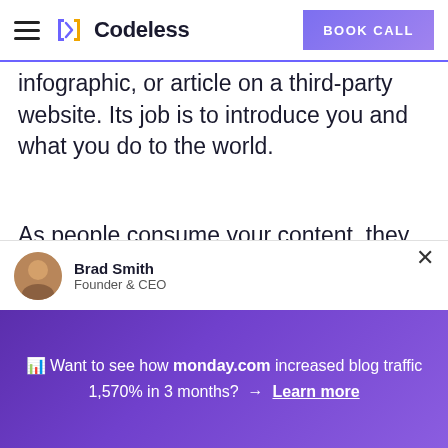Codeless | BOOK CALL
infographic, or article on a third-party website. Its job is to introduce you and what you do to the world.
As people consume your content, they move into the “awareness” stage of your lead funnel. At this point, your target audience simply knows that you exist.
Brad Smith
Founder & CEO
📊 Want to see how monday.com increased blog traffic 1,570% in 3 months? → Learn more